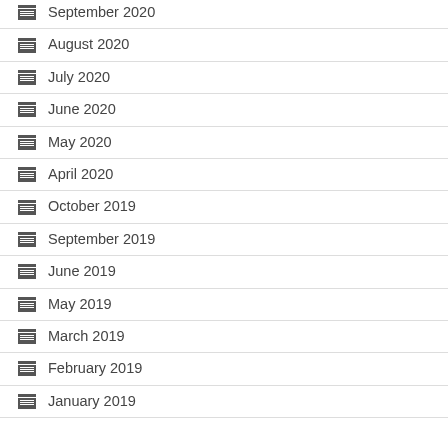September 2020
August 2020
July 2020
June 2020
May 2020
April 2020
October 2019
September 2019
June 2019
May 2019
March 2019
February 2019
January 2019